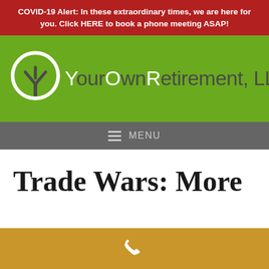COVID-19 Alert: In these extraordinary times, we are here for you. Click HERE to book a phone meeting ASAP!
[Figure (logo): YourOwnRetirement, LLC logo — white circle with tree silhouette on green background, followed by company name text]
MENU
Trade Wars: More